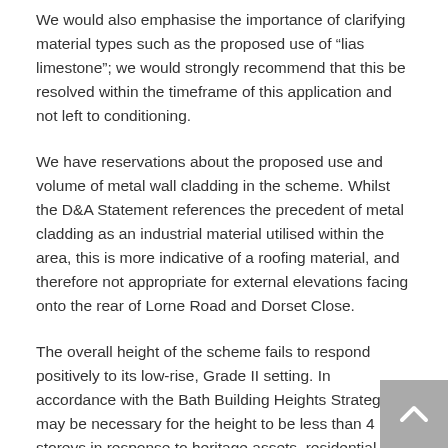We would also emphasise the importance of clarifying material types such as the proposed use of “lias limestone”; we would strongly recommend that this be resolved within the timeframe of this application and not left to conditioning.
We have reservations about the proposed use and volume of metal wall cladding in the scheme. Whilst the D&A Statement references the precedent of metal cladding as an industrial material utilised within the area, this is more indicative of a roofing material, and therefore not appropriate for external elevations facing onto the rear of Lorne Road and Dorset Close.
The overall height of the scheme fails to respond positively to its low-rise, Grade II setting. In accordance with the Bath Building Heights Strategy, “it may be necessary for the height to be less than 4 storeys in response to heritage assets, residential amenity and to prevent intrusion in views.” The proposed overall increase